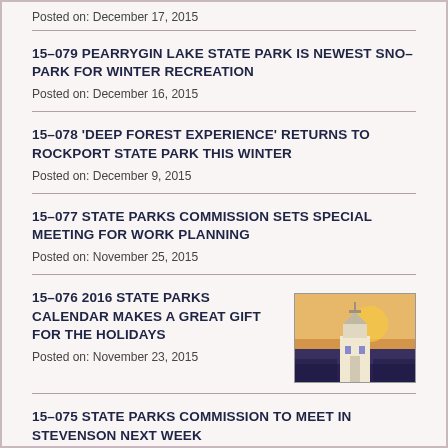Posted on: December 17, 2015
15-079 PEARRYGIN LAKE STATE PARK IS NEWEST SNO-PARK FOR WINTER RECREATION
Posted on: December 16, 2015
15-078 'DEEP FOREST EXPERIENCE' RETURNS TO ROCKPORT STATE PARK THIS WINTER
Posted on: December 9, 2015
15-077 STATE PARKS COMMISSION SETS SPECIAL MEETING FOR WORK PLANNING
Posted on: November 25, 2015
15-076 2016 STATE PARKS CALENDAR MAKES A GREAT GIFT FOR THE HOLIDAYS
[Figure (photo): A lighthouse or historic building at sunset/dusk, shown as a small thumbnail image for the 2016 State Parks Calendar entry]
Posted on: November 23, 2015
15-075 STATE PARKS COMMISSION TO MEET IN STEVENSON NEXT WEEK